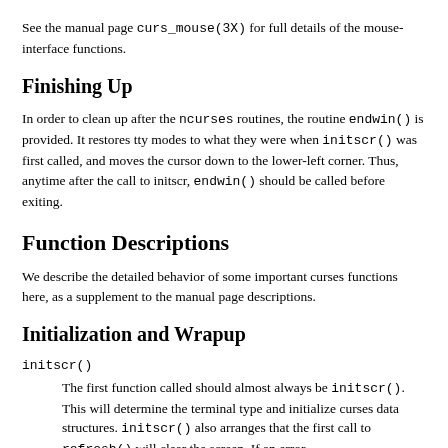See the manual page curs_mouse(3X) for full details of the mouse-interface functions.
Finishing Up
In order to clean up after the ncurses routines, the routine endwin() is provided. It restores tty modes to what they were when initscr() was first called, and moves the cursor down to the lower-left corner. Thus, anytime after the call to initscr, endwin() should be called before exiting.
Function Descriptions
We describe the detailed behavior of some important curses functions here, as a supplement to the manual page descriptions.
Initialization and Wrapup
initscr()
    The first function called should almost always be initscr(). This will determine the terminal type and initialize curses data structures. initscr() also arranges that the first call to refresh() will clear the screen. If an error